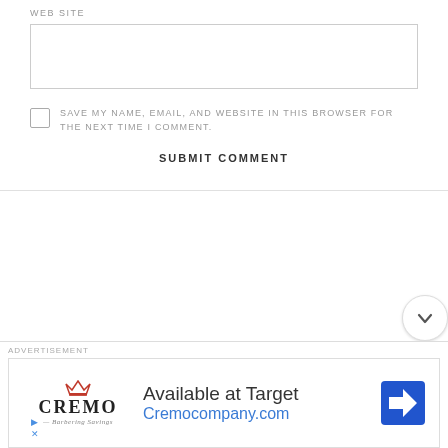WEB SITE
[Figure (other): Text input box for website URL]
[Figure (other): Checkbox (unchecked)]
SAVE MY NAME, EMAIL, AND WEBSITE IN THIS BROWSER FOR THE NEXT TIME I COMMENT.
SUBMIT COMMENT
[Figure (other): Chevron down button]
ADVERTISEMENT
[Figure (illustration): Cremo brand advertisement showing logo, 'Available at Target' text, Cremocompany.com URL, and a blue Target navigation arrow icon]